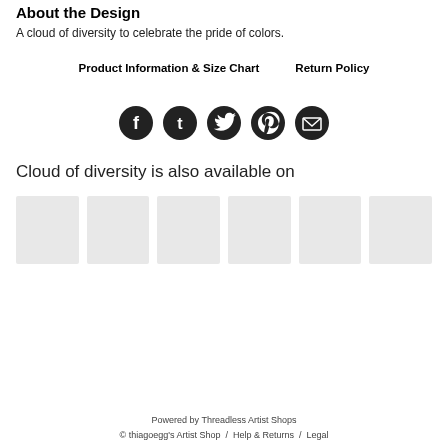About the Design
A cloud of diversity to celebrate the pride of colors.
Product Information & Size Chart     Return Policy
[Figure (infographic): Five circular dark social media icons: Facebook, Tumblr, Twitter, Pinterest, Email]
Cloud of diversity is also available on
[Figure (infographic): Six light gray placeholder product thumbnail images in a row]
Powered by Threadless Artist Shops
© thiagoegg's Artist Shop /  Help & Returns /  Legal